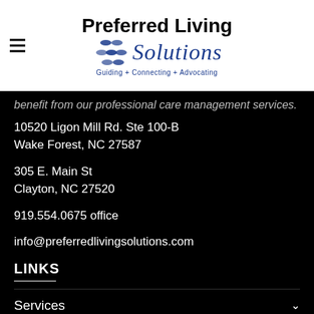[Figure (logo): Preferred Living Solutions logo with puzzle piece icon. Text reads 'Preferred Living' in bold black, 'Solutions' in blue italic, tagline 'Guiding + Connecting + Advocating']
benefit from our professional care management services.
10520 Ligon Mill Rd. Ste 100-B
Wake Forest, NC 27587
305 E. Main St
Clayton, NC 27520
919.554.0675 office
info@preferredlivingsolutions.com
LINKS
Services
Scenarios